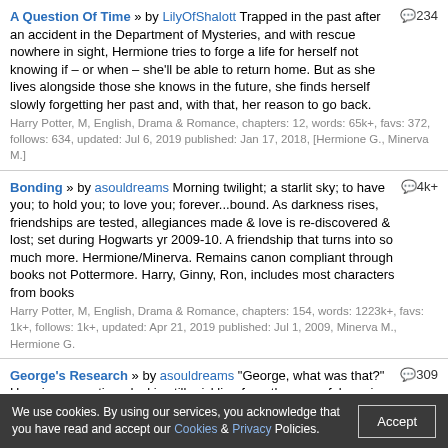A Question Of Time » by LilyOfShalott Trapped in the past after an accident in the Department of Mysteries, and with rescue nowhere in sight, Hermione tries to forge a life for herself not knowing if – or when – she'll be able to return home. But as she lives alongside those she knows in the future, she finds herself slowly forgetting her past and, with that, her reason to go back. Harry Potter, M, English, Drama & Romance, chapters: 12, words: 65k+, favs: 372, follows: 634, updated: Jul 6, 2019 published: Jan 17, 2018, [Hermione G., Minerva M.] 💬234
Bonding » by asouldreams Morning twilight; a starlit sky; to have you; to hold you; to love you; forever...bound. As darkness rises, friendships are tested, allegiances made & love is re-discovered & lost; set during Hogwarts yr 2009-10. A friendship that turns into so much more. Hermione/Minerva. Remains canon compliant through books not Pottermore. Harry, Ginny, Ron, includes most characters from books Harry Potter, M, English, Drama & Romance, chapters: 154, words: 1223k+, favs: 1k+, follows: 1k+, updated: Apr 21, 2019 published: Jul 1, 2009, Minerva M., Hermione G. 💬4k+
George's Research » by asouldreams "George, what was that?" Hermione questioned, skin still prickling from the powerful magic that had danced across her skin as she fought down a sudden wave of panic. ... "Look, it isn't dangerous." George quickly expounded, "It's a containment spell but instead of it being localized to an area; it's been morphed to contain persons, objects, what not to one another." HG/MM Harry Potter, M, English, Drama & Romance, chapters: 13, words: 29k+, 💬309
We use cookies. By using our services, you acknowledge that you have read and accept our Cookies & Privacy Policies.